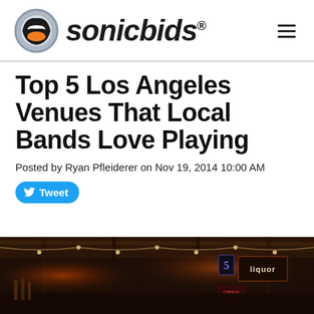[Figure (logo): Sonicbids logo with icon and wordmark]
Top 5 Los Angeles Venues That Local Bands Love Playing
Posted by Ryan Pfleiderer on Nov 19, 2014 10:00 AM
[Figure (other): Tweet button]
[Figure (photo): Dark interior photo of a music venue bar with neon lights and signs]